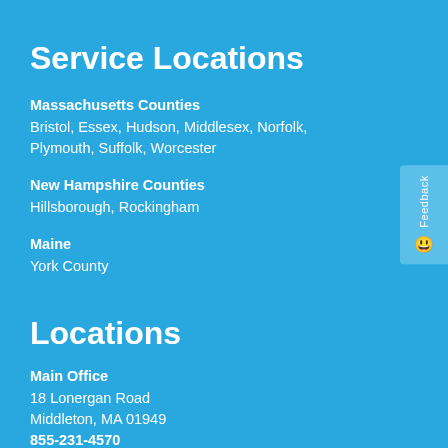Service Locations
Massachusetts Counties
Bristol, Essex, Hudson, Middlesex, Norfolk, Plymouth, Suffolk, Worcester
New Hampshire Counties
Hillsborough, Rockingham
Maine
York County
Locations
Main Office
18 Lonergan Road
Middleton, MA 01949
855-231-4570
Stow Office